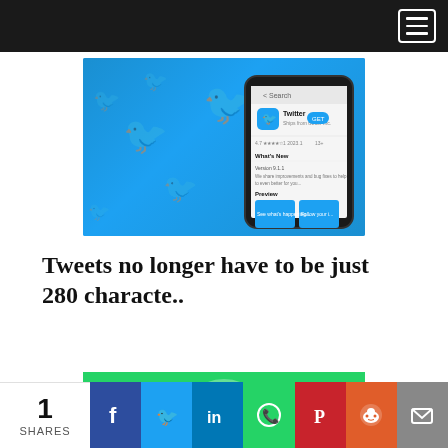[Navigation bar with hamburger menu]
[Figure (photo): Twitter app store page shown on a smartphone surrounded by blue Twitter bird logo tokens on a blue background]
Tweets no longer have to be just 280 characte..
[Figure (photo): WhatsApp app store page shown on a smartphone held by a hand, with silhouettes of people using phones in the background on a green WhatsApp-branded background]
1 SHARES | Share on Facebook | Share on Twitter | Share on LinkedIn | Share on WhatsApp | Share on Pinterest | Share on Reddit | Share via Email